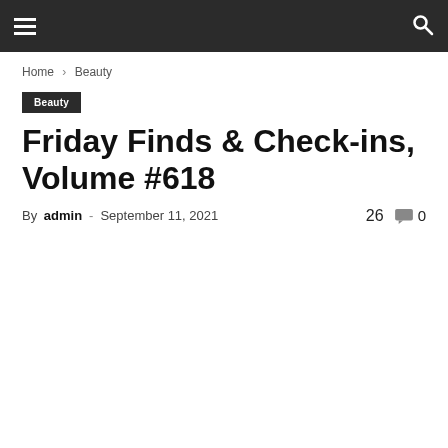Navigation bar with hamburger menu and search icon
Home › Beauty
Beauty
Friday Finds & Check-ins, Volume #618
By admin - September 11, 2021  26  0